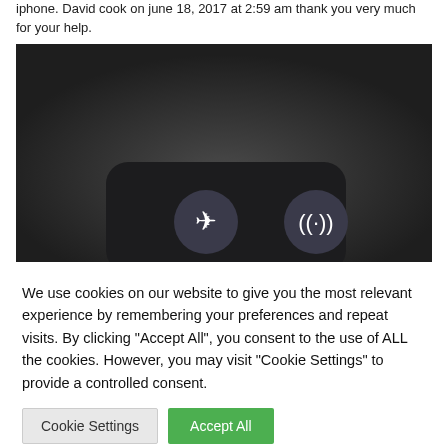iphone. David cook on june 18, 2017 at 2:59 am thank you very much for your help.
[Figure (screenshot): Screenshot of an iPhone control center panel showing airplane mode and WiFi/connectivity icons on a dark background]
We use cookies on our website to give you the most relevant experience by remembering your preferences and repeat visits. By clicking “Accept All”, you consent to the use of ALL the cookies. However, you may visit "Cookie Settings" to provide a controlled consent.
Cookie Settings    Accept All